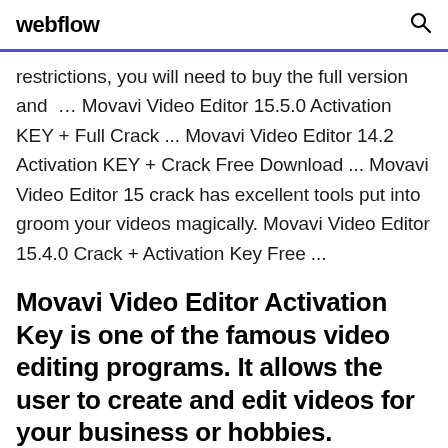webflow
restrictions, you will need to buy the full version and  … Movavi Video Editor 15.5.0 Activation KEY + Full Crack ... Movavi Video Editor 14.2 Activation KEY + Crack Free Download ... Movavi Video Editor 15 crack has excellent tools put into groom your videos magically. Movavi Video Editor 15.4.0 Crack + Activation Key Free ...
Movavi Video Editor Activation Key is one of the famous video editing programs. It allows the user to create and edit videos for your business or hobbies.